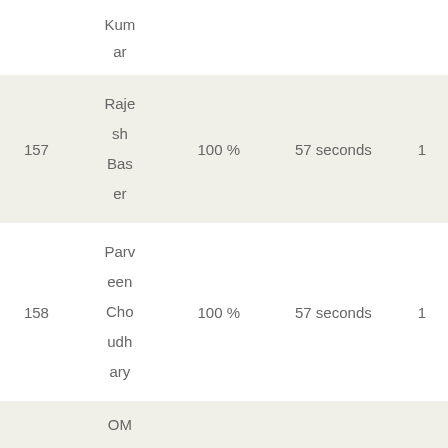| # | Name | Score | Time | Rank |
| --- | --- | --- | --- | --- |
|  | Kum
ar |  |  |  |
| 157 | Rajesh
Baser | 100 % | 57 seconds | 1 |
| 158 | Parveen
Choudhary | 100 % | 57 seconds | 1 |
|  | OM
PRA
KAS |  |  |  |